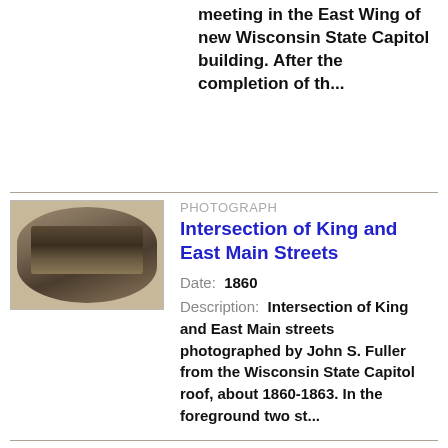meeting in the East Wing of new Wisconsin State Capitol building. After the completion of th...
[Figure (photo): Black and white historical photograph showing intersection of King and East Main streets, oval vignette style, viewed from an elevated rooftop perspective.]
PHOTOGRAPH
Intersection of King and East Main Streets
Date: 1860
Description: Intersection of King and East Main streets photographed by John S. Fuller from the Wisconsin State Capitol roof, about 1860-1863. In the foreground two st...